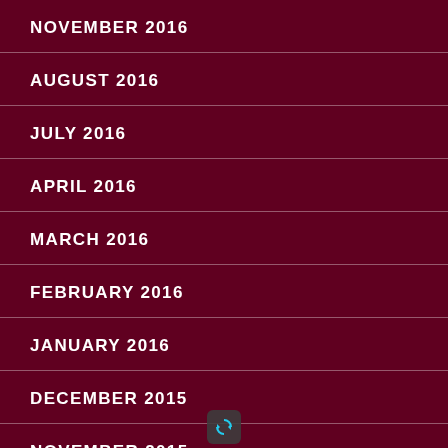NOVEMBER 2016
AUGUST 2016
JULY 2016
APRIL 2016
MARCH 2016
FEBRUARY 2016
JANUARY 2016
DECEMBER 2015
NOVEMBER 2015
[Figure (screenshot): Chat popup widget overlay asking 'How can we help you today?' with four radio button options: Wills, Trusts, Probate Litigation, Probate Administration. Two icon buttons (external link and close X) appear above the popup. A refresh/chat icon appears at the bottom.]